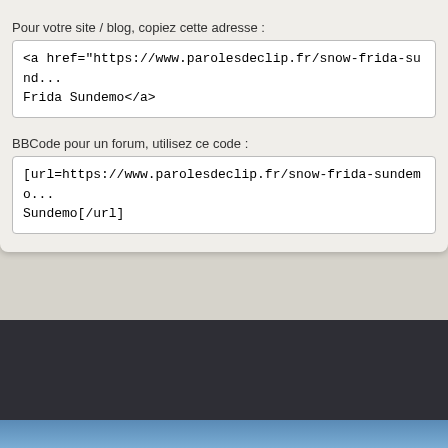Pour votre site / blog, copiez cette adresse :
<a href="https://www.parolesdeclip.fr/snow-frida-sund...">Frida Sundemo</a>
BBCode pour un forum, utilisez ce code :
[url=https://www.parolesdeclip.fr/snow-frida-sundemo...]Sundemo[/url]
[Figure (logo): Paroles de Clip.fr logo in white and gold on dark background]